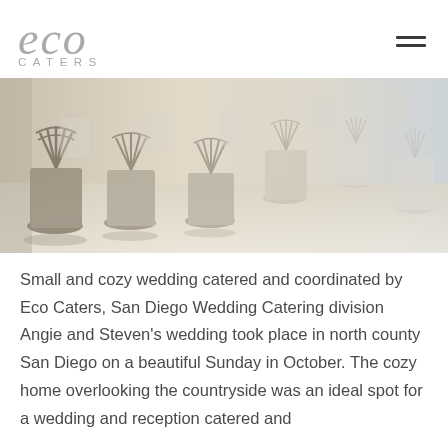eco CATERS
[Figure (photo): Rows of decorative fan-back folding chairs arranged outdoors for a wedding ceremony, photographed in a bright, washed-out style with sunlight and shadows.]
Small and cozy wedding catered and coordinated by Eco Caters, San Diego Wedding Catering division Angie and Steven's wedding took place in north county San Diego on a beautiful Sunday in October. The cozy home overlooking the countryside was an ideal spot for a wedding and reception catered and